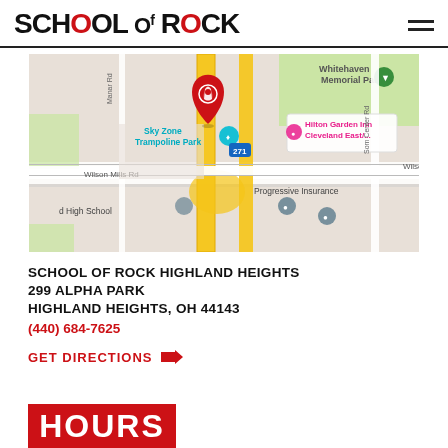SCHOOL OF ROCK
[Figure (map): Google Maps screenshot showing the location of School of Rock Highland Heights near Wilson Mills Rd, with nearby landmarks including Sky Zone Trampoline Park, Hilton Garden Inn Cleveland East, Progressive Insurance, Whitehaven Memorial Park, and highway 271.]
SCHOOL OF ROCK HIGHLAND HEIGHTS
299 ALPHA PARK
HIGHLAND HEIGHTS, OH 44143
(440) 684-7625
GET DIRECTIONS
HOURS